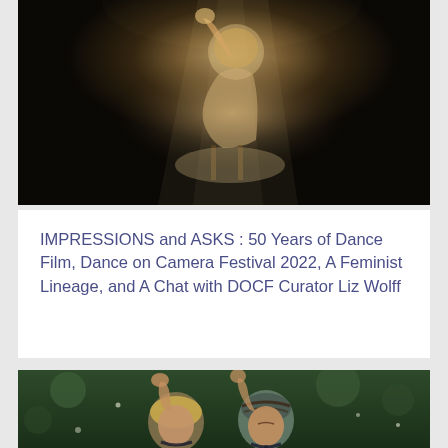[Figure (photo): A dancer in white dress illuminated by a spotlight against a dark background, seated and reaching upward with one hand raised]
IMPRESSIONS and ASKS : 50 Years of Dance Film, Dance on Camera Festival 2022, A Feminist Lineage, and A Chat with DOCF Curator Liz Wolff
[Figure (photo): Two performers outdoors among green foliage, wearing head wraps and beaded necklaces, one with hands raised overhead and the other leaning back with eyes closed]